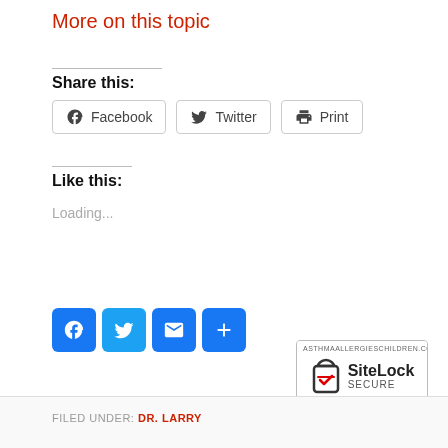More on this topic
Share this:
[Figure (screenshot): Share buttons: Facebook, Twitter, Print]
Like this:
Loading...
[Figure (screenshot): Social share icon buttons: Facebook (blue), Twitter (blue), Email (blue), More (blue plus)]
[Figure (logo): SiteLock SECURE badge — ASTHMAALLERGIESCHILDREN.COM, Passed 21-Aug-2022]
FILED UNDER: DR. LARRY